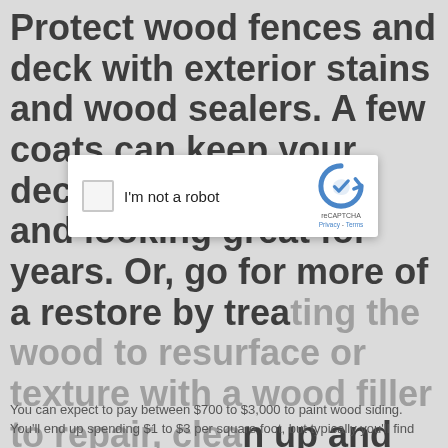Protect wood fences and deck with exterior stains and wood sealers. A few coats can keep your deck vibrant, healthy and looking great for years. Or, go for more of a restore by treating the wood to resurface or texture with a wood filler to repair, clean up and elevate your outside project. It will stop premature peeling and make your exterior paint last longer. Pro tip: Take at least as much time to prep as you will for painting. Arvada House Painting CO
[Figure (screenshot): reCAPTCHA modal dialog with 'I'm not a robot' checkbox and reCAPTCHA logo showing Privacy and Terms links]
You can expect to pay between $700 to $3,000 to paint wood siding. You'll end up spending $1 to $3 per square foot, but typically you'll find